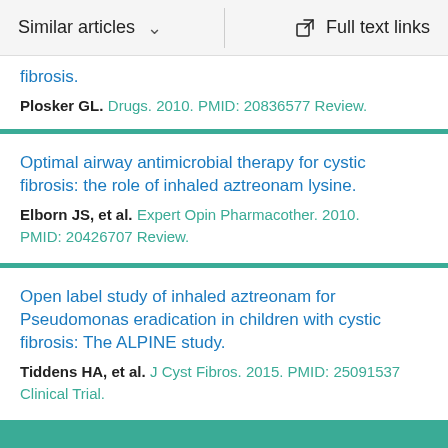Similar articles   Full text links
fibrosis.
Plosker GL. Drugs. 2010. PMID: 20836577 Review.
Optimal airway antimicrobial therapy for cystic fibrosis: the role of inhaled aztreonam lysine.
Elborn JS, et al. Expert Opin Pharmacother. 2010.
PMID: 20426707 Review.
Open label study of inhaled aztreonam for Pseudomonas eradication in children with cystic fibrosis: The ALPINE study.
Tiddens HA, et al. J Cyst Fibros. 2015. PMID: 25091537
Clinical Trial.